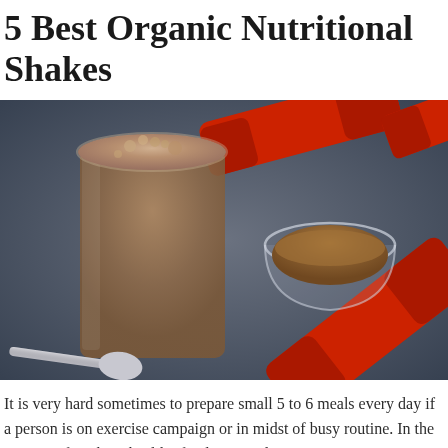5 Best Organic Nutritional Shakes
[Figure (photo): A glass of chocolate protein shake on a dark gray surface, with a small glass bowl of cocoa/protein powder and red dumbbells in the background, and a metal spoon to the left of the glass.]
It is very hard sometimes to prepare small 5 to 6 meals every day if a person is on exercise campaign or in midst of busy routine. In the process of cooking healthy food time and